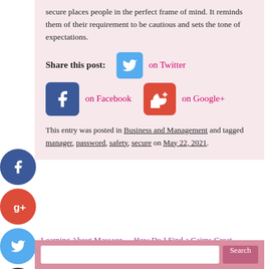secure places people in the perfect frame of mind. It reminds them of their requirement to be cautious and sets the tone of expectations.
Share this post:  on Twitter  on Facebook  on Google+
This entry was posted in Business and Management and tagged manager, password, safety, secure on May 22, 2021.
Learning About Massage For Stress Relief
How Do I Find a Cairns Great Wedding Photographer →